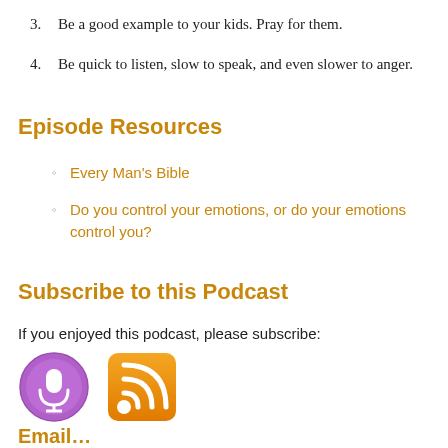3. Be a good example to your kids. Pray for them.
4. Be quick to listen, slow to speak, and even slower to anger.
Episode Resources
Every Man's Bible
Do you control your emotions, or do your emotions control you?
Subscribe to this Podcast
If you enjoyed this podcast, please subscribe:
[Figure (illustration): Two subscription icons: a purple podcast microphone icon and an orange RSS feed icon]
Email / iTunes